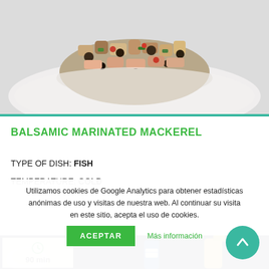[Figure (photo): Close-up photo of balsamic marinated mackerel dish — chopped fish mixture shaped into a round mound on a white plate, with dark olives/capers and colorful ingredients visible]
BALSAMIC MARINATED MACKEREL
TYPE OF DISH: FISH
TEMPERATURE: COLD
[Figure (photo): Bottom strip showing another food dish against dark background, with a clock icon and '90 min' label overlay]
Utilizamos cookies de Google Analytics para obtener estadísticas anónimas de uso y visitas de nuestra web. Al continuar su visita en este sitio, acepta el uso de cookies.
ACEPTAR
Más información